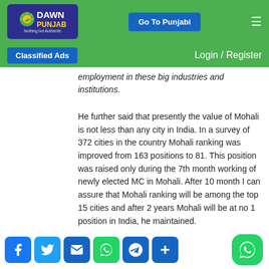[Figure (logo): Dawn Punjab logo - blue rectangle with sun/leaf graphic, text 'DAWN PUNJAB Nothing but Authentic']
Go To Punjabi | Login / Register
employment in these big industries and institutions.
He further said that presently the value of Mohali is not less than any city in India. In a survey of 372 cities in the country Mohali ranking was improved from 163 positions to 81. This position was raised only during the 7th month working of newly elected MC in Mohali. After 10 month I can assure that Mohali ranking will be among the top 15 cities and after 2 years Mohali will be at no 1 position in India, he maintained.
This is our thinking and plans to develop Mohali